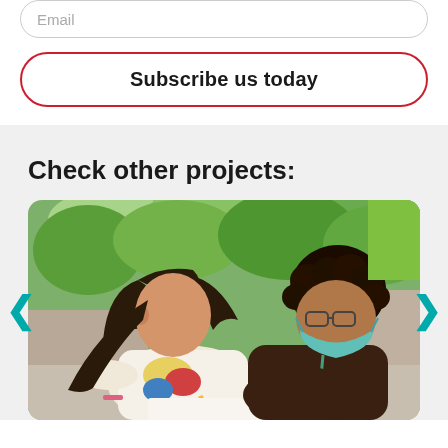Email
Subscribe us today
Check other projects:
[Figure (photo): Two children working together on a worksheet outdoors. One child wearing a white shirt with a colorful print leans over writing with a pencil, and another child wearing a dark brown shirt and a teal face mask sits beside them. They are at a stone table in a sunny outdoor area with trees in the background.]